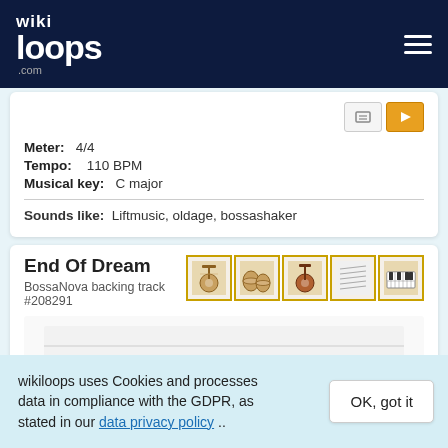wikiloops.com
Meter: 4/4
Tempo: 110 BPM
Musical key: C major
Sounds like: Liftmusic, oldage, bossashaker
End Of Dream
BossaNova backing track #208291
[Figure (illustration): Five instrument icon boxes with gold borders showing various instruments]
Meter: 4/4
Tempo: 64 BPM
wikiloops uses Cookies and processes data in compliance with the GDPR, as stated in our data privacy policy ..